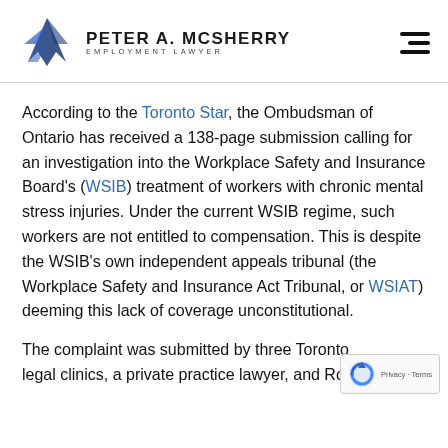PETER A. MCSHERRY EMPLOYMENT LAWYER
According to the Toronto Star, the Ombudsman of Ontario has received a 138-page submission calling for an investigation into the Workplace Safety and Insurance Board's (WSIB) treatment of workers with chronic mental stress injuries. Under the current WSIB regime, such workers are not entitled to compensation. This is despite the WSIB's own independent appeals tribunal (the Workplace Safety and Insurance Act Tribunal, or WSIAT) deeming this lack of coverage unconstitutional.
The complaint was submitted by three Toronto legal clinics, a private practice lawyer, and Ron Ellis.